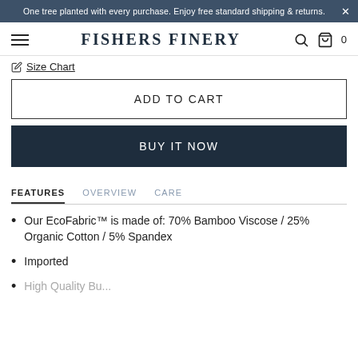One tree planted with every purchase. Enjoy free standard shipping & returns.
FISHERS FINERY
Size Chart
ADD TO CART
BUY IT NOW
FEATURES   OVERVIEW   CARE
Our EcoFabric™ is made of: 70% Bamboo Viscose / 25% Organic Cotton / 5% Spandex
Imported
High Quality Buttons...